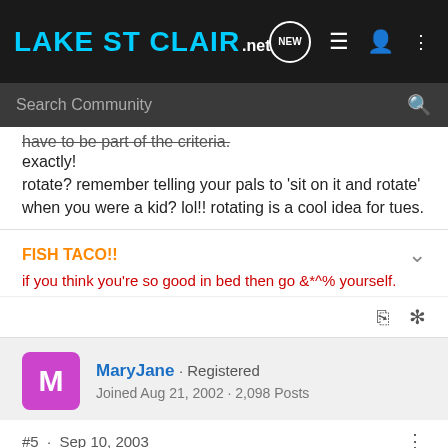LakeSt Clair.NET
have to be part of the criteria.
exactly!
rotate? remember telling your pals to 'sit on it and rotate' when you were a kid? lol!! rotating is a cool idea for tues.
FISH TACO!!
if you think you&#39;re so good in bed then go &*^% yourself.
MaryJane · Registered
Joined Aug 21, 2002 · 2,098 Posts
#5 · Sep 10, 2003